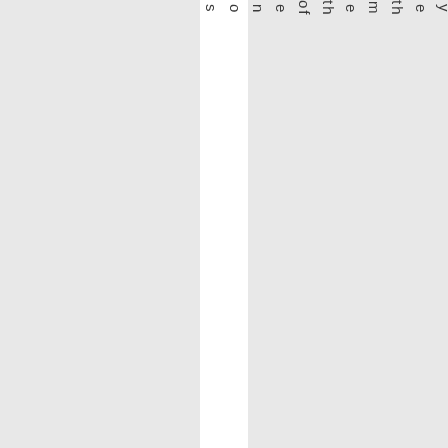s
o
n
e
of
th
e
m
th
e
y
g
et
th
e
p
oi
s
o
n
to
o.

B
e
c
ar
ef